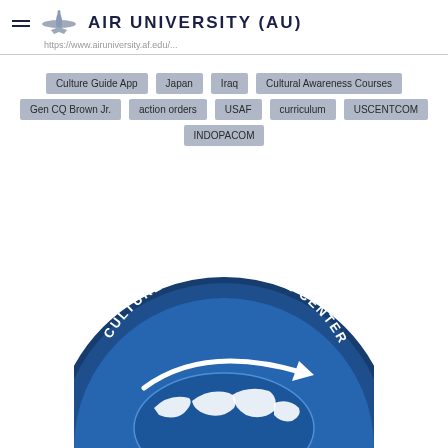AIR UNIVERSITY (AU)
https://www.airuniversity.af.edu/...
Culture Guide App
Japan
Iraq
Cultural Awareness Courses
Gen CQ Brown Jr.
action orders
USAF
curriculum
USCENTCOM
INDOPACOM
[Figure (logo): Culture and Language Center circular emblem with globe and arrow motif in blue and white]